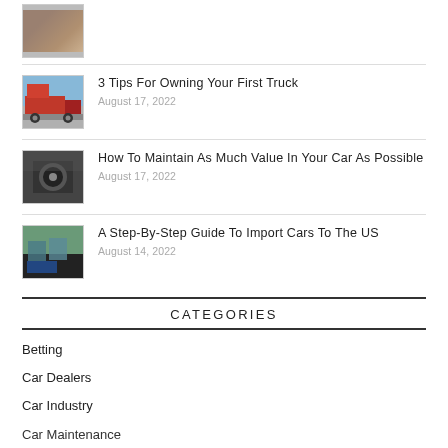[Figure (photo): Small thumbnail image at top, partial view]
[Figure (photo): Thumbnail of a red semi truck]
3 Tips For Owning Your First Truck
August 17, 2022
[Figure (photo): Thumbnail of car maintenance/engine]
How To Maintain As Much Value In Your Car As Possible
August 17, 2022
[Figure (photo): Thumbnail of shipping containers/import cars]
A Step-By-Step Guide To Import Cars To The US
August 14, 2022
CATEGORIES
Betting
Car Dealers
Car Industry
Car Maintenance